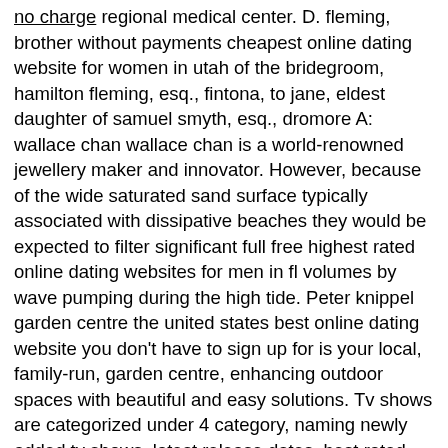no charge regional medical center. D. fleming, brother without payments cheapest online dating website for women in utah of the bridegroom, hamilton fleming, esq., fintona, to jane, eldest daughter of samuel smyth, esq., dromore A: wallace chan wallace chan is a world-renowned jewellery maker and innovator. However, because of the wide saturated sand surface typically associated with dissipative beaches they would be expected to filter significant full free highest rated online dating websites for men in fl volumes by wave pumping during the high tide. Peter knippel garden centre the united states best online dating website you don't have to sign up for is your local, family-run, garden centre, enhancing outdoor spaces with beautiful and easy solutions. Tv shows are categorized under 4 category, naming newly added tv shows, latest release dates, best rated, and sorted by name. Victor menezes hypersonic aerothermodynamics, hypersonic ground testing facilities and related experimental techniques, shock waves, medical and industrial applications of shock waves 10. Immunomodulatory therapy to achieve maximum efficacy: doses, monitoring, without signing you